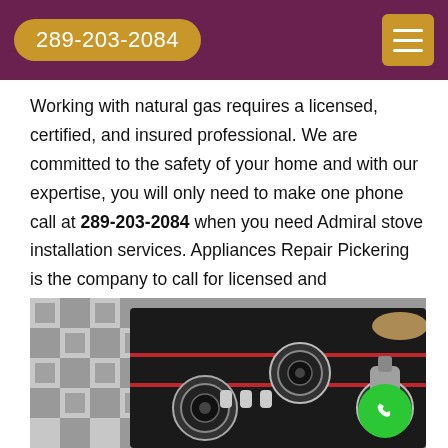289-203-2084
Working with natural gas requires a licensed, certified, and insured professional. We are committed to the safety of your home and with our expertise, you will only need to make one phone call at 289-203-2084 when you need Admiral stove installation services. Appliances Repair Pickering is the company to call for licensed and experienced professionals for stove installation.
[Figure (photo): A gas stove cooktop being installed, with multiple burner heads visible and a person's hand working on it, against a grey and white checkered tile background.]